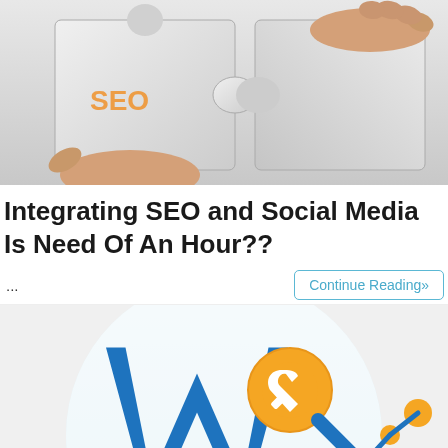[Figure (photo): Two puzzle pieces being connected, one with orange 'SEO' text visible on it, held by human hands against a light background]
Integrating SEO and Social Media Is Need Of An Hour??
...
Continue Reading»
[Figure (logo): WordPress SEO logo: blue letter W with an orange magnifying glass/wrench tool icon overlaid, and an orange analytics graph icon to the right, all inside a white circle on light blue background]